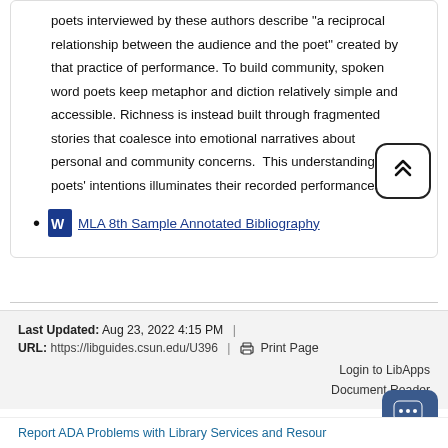poets interviewed by these authors describe "a reciprocal relationship between the audience and the poet" created by that practice of performance. To build community, spoken word poets keep metaphor and diction relatively simple and accessible. Richness is instead built through fragmented stories that coalesce into emotional narratives about personal and community concerns.  This understanding of poets' intentions illuminates their recorded performances.
MLA 8th Sample Annotated Bibliography
Last Updated: Aug 23, 2022 4:15 PM  |  URL: https://libguides.csun.edu/U396  |  Print Page
Login to LibApps
Document Reader
Report ADA Problems with Library Services and Resour